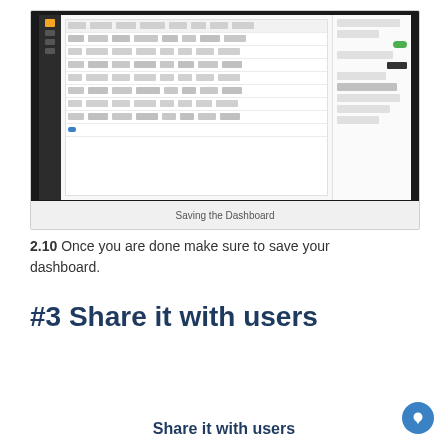[Figure (screenshot): Screenshot of a dashboard interface showing a data table with multiple rows and columns, a dark sidebar on the left, and a settings/configuration panel on the right side.]
Saving the Dashboard
2.10 Once you are done make sure to save your dashboard.
#3 Share it with users
Share it with users